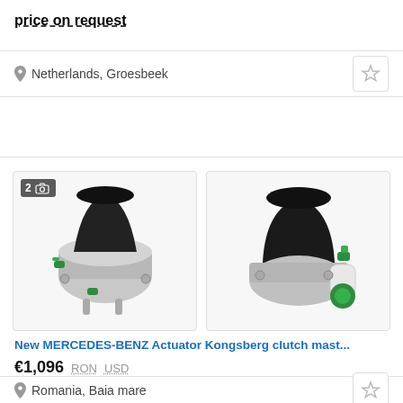price on request
Netherlands, Groesbeek
[Figure (photo): Two photos of a MERCEDES-BENZ Actuator Kongsberg clutch master cylinder component, metallic silver with green fittings and black rubber boot]
New MERCEDES-BENZ Actuator Kongsberg clutch mast...
€1,096  RON  USD
Romania, Baia mare